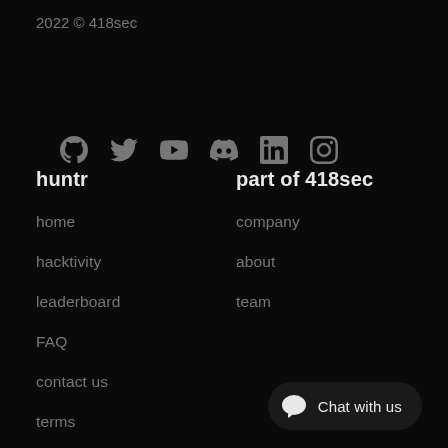2022 © 418sec
[Figure (illustration): Row of social media icons: GitHub, Twitter, YouTube, Discord, LinkedIn, Instagram]
huntr
part of 418sec
home
company
hacktivity
about
leaderboard
team
FAQ
contact us
terms
privacy policy
Chat with us